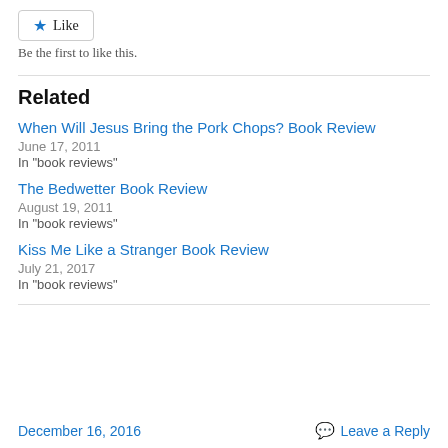[Figure (other): Like button with star icon]
Be the first to like this.
Related
When Will Jesus Bring the Pork Chops? Book Review
June 17, 2011
In "book reviews"
The Bedwetter Book Review
August 19, 2011
In "book reviews"
Kiss Me Like a Stranger Book Review
July 21, 2017
In "book reviews"
December 16, 2016    Leave a Reply